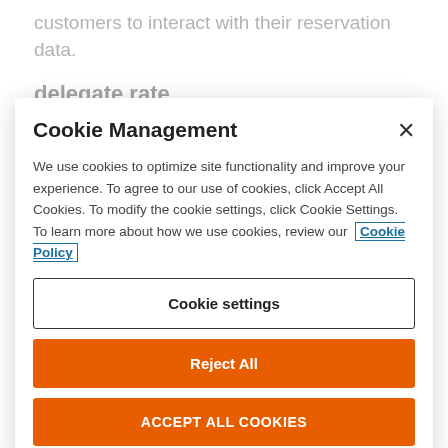customers to interact with their reservation data.
delegate rate
Cookie Management
We use cookies to optimize site functionality and improve your experience. To agree to our use of cookies, click Accept All Cookies. To modify the cookie settings, click Cookie Settings. To learn more about how we use cookies, review our Cookie Policy
Cookie settings
Reject All
ACCEPT ALL COOKIES